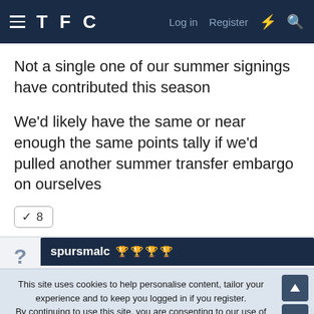TFC — Log in  Register
Not a single one of our summer signings have contributed this season
We'd likely have the same or near enough the same points tally if we'd pulled another summer transfer embargo on ourselves
✓ 8
spursmalc 🏆🏆🏆🏆
This site uses cookies to help personalise content, tailor your experience and to keep you logged in if you register.
By continuing to use this site, you are consenting to our use of cookies.